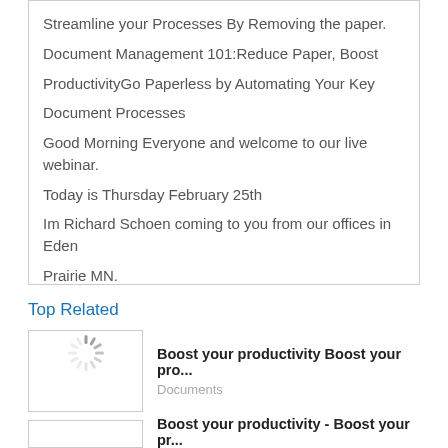Streamline your Processes By Removing the paper. Document Management 101:Reduce Paper, Boost ProductivityGo Paperless by Automating Your Key Document Processes Good Morning Everyone and welcome to our live webinar. Today is Thursday February 25th Im Richard Schoen coming to you from our offices in Eden Prairie MN. Ill be the moderator today for our webinar titled: Document Management 101, Reduce Paper, Boost
Top Related
Boost your productivity Boost your pro...
Documents
Boost your productivity - Boost your pr...